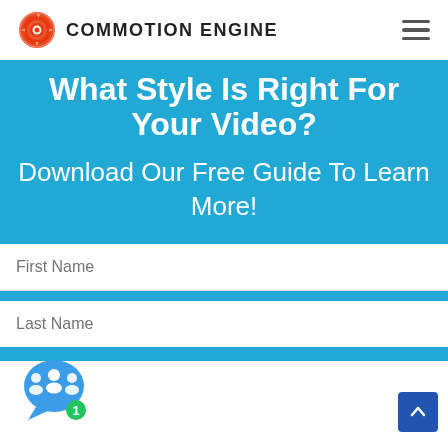COMMOTION ENGINE
What Style Is Right For Your Video?
Download Our Free Guide To Learn More!
First Name
Last Name
[Figure (illustration): Chat bubble icon with group of people and notification badge showing 1]